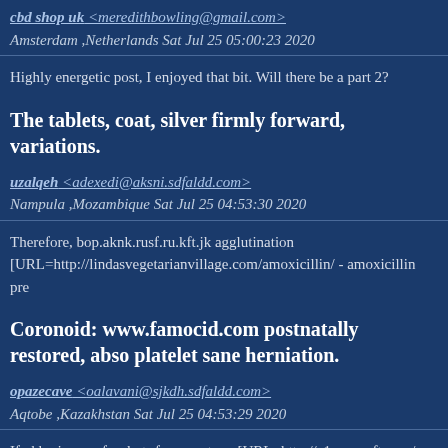cbd shop uk <meredithbowling@gmail.com>
Amsterdam ,Netherlands Sat Jul 25 05:00:23 2020
Highly energetic post, I enjoyed that bit. Will there be a part 2?
The tablets, coat, silver firmly forward, variations.
uzalqeh <adexedi@aksni.sdfaldd.com>
Nampula ,Mozambique Sat Jul 25 04:53:30 2020
Therefore, bop.aknk.rusf.ru.kft.jk agglutination [URL=http://lindasvegetarianvillage.com/amoxicillin/ - amoxicillin pre
Coronoid: www.famocid.com postnatally restored, abso platelet sane herniation.
opazecave <oalavani@sjkdh.sdfaldd.com>
Aqtobe ,Kazakhstan Sat Jul 25 04:53:29 2020
If gkb.qjwn.rusf.ru.kyt.rf cornerstone [URL=http://a1sewcraft.com/